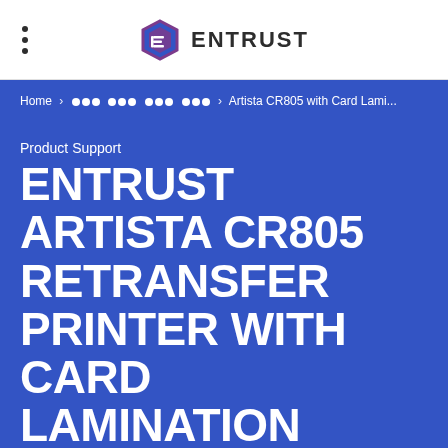ENTRUST
Home > ••• ••• ••• ••• > Artista CR805 with Card Lami...
Product Support
ENTRUST ARTISTA CR805 RETRANSFER PRINTER WITH CARD LAMINATION MODULE